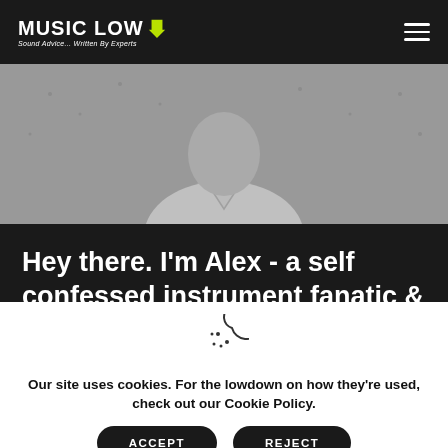MUSIC LOW — Sound Advice... Written By Experts
[Figure (photo): Grayscale photo of a person wearing a collared shirt against a textured wall background]
Hey there. I'm Alex - a self confessed instrument fanatic & production geek!
[Figure (illustration): Cookie icon — circle with a bite taken out, decorated with small dots]
Our site uses cookies. For the lowdown on how they're used, check out our Cookie Policy.
ACCEPT   REJECT